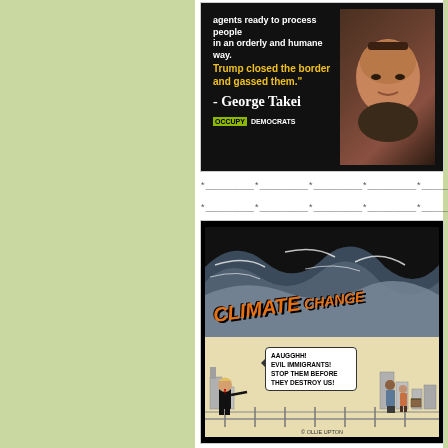[Figure (illustration): Occupy Democrats political quote card on black background. White bold text reads 'agents ready to process people in an orderly and humane way.' followed by yellow bold text 'Trump closed the border and gassed them.' followed by white attribution text '- George Takei'. Bottom has OCCUPY DEMOCRATS logo. Right side shows a photo of George Takei's face.]
*_________*_________*_________*_________*_________*_________*
*_________*_________*_________*_________*_________*_________*
[Figure (illustration): Political cartoon showing a giant wave labeled 'CLIMATE CHANGE' in large orange italic letters crashing over a city skyline. In the foreground, a caricature of Trump points and shouts in a speech bubble: 'AAUGGHH! EVIL IMMIGRANTS! STOP THEM BEFORE THEY DESTROY US!' while a family of immigrants stands near a fence on the right. Copyright: OLLIE UPTON]